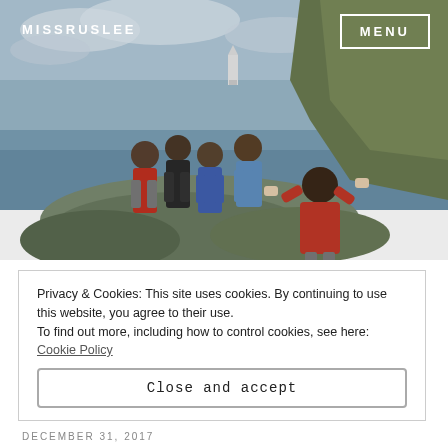MISSRUSLEE
MENU
[Figure (photo): A person in a red jacket photographing four people posing on rocks by the sea, with green cliffs and a white lighthouse in the background under a cloudy sky.]
Privacy & Cookies: This site uses cookies. By continuing to use this website, you agree to their use.
To find out more, including how to control cookies, see here: Cookie Policy
Close and accept
DECEMBER 31, 2017